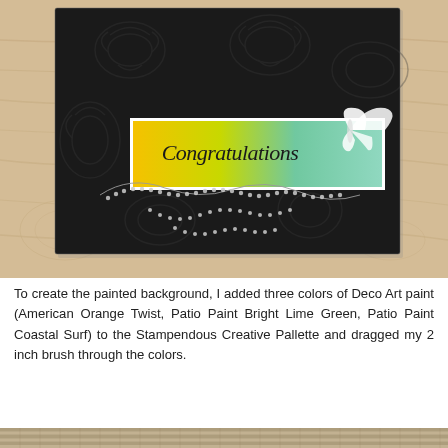[Figure (photo): A handmade congratulations card on a wood surface. The card features a black embossed floral background with a colorful painted strip (yellow, green, teal gradient) in the center bearing the word 'Congratulations' in script font, a white butterfly embellishment on the right, and decorative rhinestone chain swirls below.]
To create the painted background, I added three colors of Deco Art paint (American Orange Twist, Patio Paint Bright Lime Green, Patio Paint Coastal Surf) to the Stampendous Creative Pallette and dragged my 2 inch brush through the colors.
[Figure (photo): Partial view of another card or craft project, showing a textured/striped surface, partially visible at the bottom of the page.]